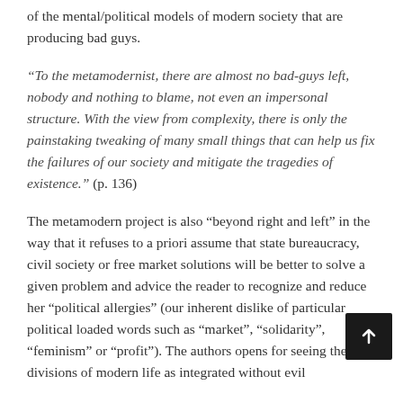of the mental/political models of modern society that are producing bad guys.
“To the metamodernist, there are almost no bad-guys left, nobody and nothing to blame, not even an impersonal structure. With the view from complexity, there is only the painstaking tweaking of many small things that can help us fix the failures of our society and mitigate the tragedies of existence.” (p. 136)
The metamodern project is also “beyond right and left” in the way that it refuses to a priori assume that state bureaucracy, civil society or free market solutions will be better to solve a given problem and advice the reader to recognize and reduce her “political allergies” (our inherent dislike of particular political loaded words such as “market”, “solidarity”, “feminism” or “profit”). The authors opens for seeing the divisions of modern life as integrated without evil